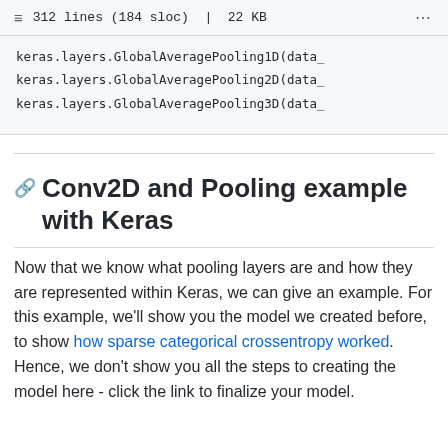312 lines (184 sloc) | 22 KB
keras.layers.GlobalAveragePooling1D(data_
keras.layers.GlobalAveragePooling2D(data_
keras.layers.GlobalAveragePooling3D(data_
Conv2D and Pooling example with Keras
Now that we know what pooling layers are and how they are represented within Keras, we can give an example. For this example, we'll show you the model we created before, to show how sparse categorical crossentropy worked. Hence, we don't show you all the steps to creating the model here - click the link to finalize your model.